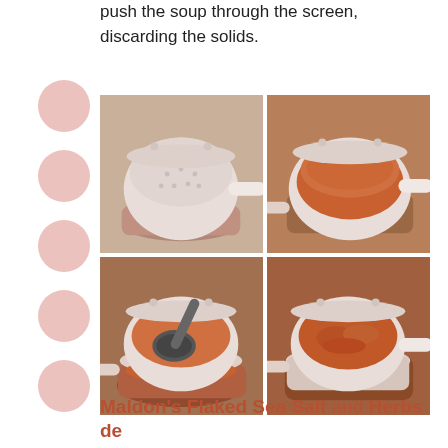push the soup through the screen, discarding the solids.
[Figure (photo): Four photos showing the process of straining soup through a sieve/colander into a bowl: top-left shows empty strainer, top-right shows orange soup in strainer, bottom-left shows ladling soup through strainer, bottom-right shows thick strained soup remaining.]
Maldon's Flaked Sea Salt and Herbs de